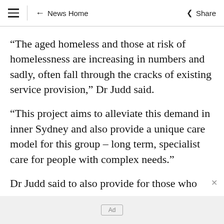≡  ← News Home    Share
“The aged homeless and those at risk of homelessness are increasing in numbers and sadly, often fall through the cracks of existing service provision,” Dr Judd said.
“This project aims to alleviate this demand in inner Sydney and also provide a unique care model for this group – long term, specialist care for people with complex needs.”
Dr Judd said... [partially visible, cut off]